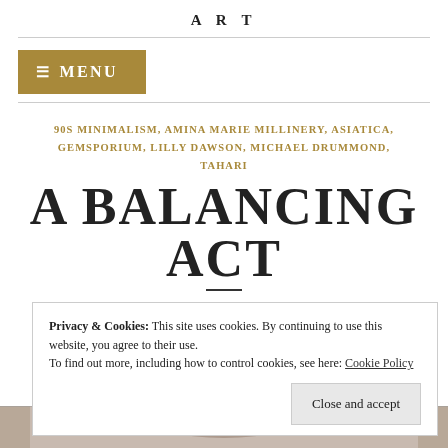ART
≡ MENU
90S MINIMALISM, AMINA MARIE MILLINERY, ASIATICA, GEMSPORIUM, LILLY DAWSON, MICHAEL DRUMMOND, TAHARI
A BALANCING ACT
Privacy & Cookies: This site uses cookies. By continuing to use this website, you agree to their use.
To find out more, including how to control cookies, see here: Cookie Policy
Close and accept
[Figure (photo): Bottom strip showing a partially visible photo of a person wearing a striped hat]